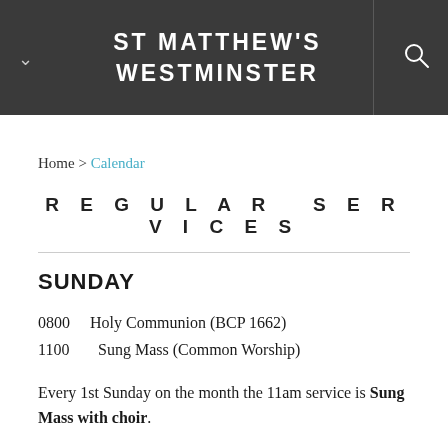ST MATTHEW'S WESTMINSTER
Home > Calendar
REGULAR SERVICES
SUNDAY
0800  Holy Communion (BCP 1662)
1100    Sung Mass (Common Worship)
Every 1st Sunday on the month the 11am service is Sung Mass with choir.
MONDAY TO FRIDAY